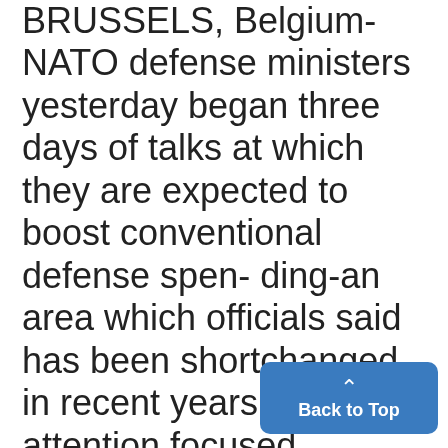BRUSSELS, Belgium-NATO defense ministers yesterday began three days of talks at which they are expected to boost conventional defense spending-an area which officials said has been shortchanged in recent years as attention focused exclusively on nuclear arms in Europe. The meeting at NATO headquarters began with a gathering of ambassadors of the European NATO nations presided over by British Defense Secretary Michael Heseltine. La- European defense ministers di-
[Figure (other): Back to Top button — a blue rounded rectangle UI element with an up-arrow chevron and the text 'Back to Top']